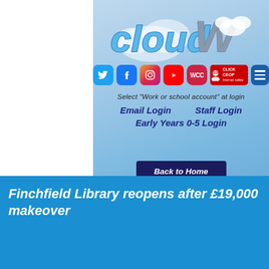[Figure (logo): CloudW logo with cloud shape and stylized text]
[Figure (infographic): Row of social media icons: Twitter, Facebook, Instagram, YouTube, WCC, CLICK CEOP, and hamburger menu button]
Select  "Work or school account" at login
Email Login
Staff Login
Early Years 0-5 Login
Back to Home
Finchfield Library reopens after £19,000 makeover